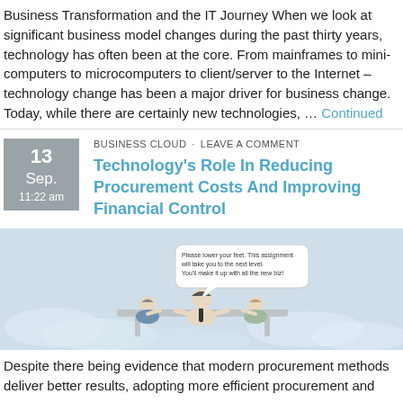Business Transformation and the IT Journey When we look at significant business model changes during the past thirty years, technology has often been at the core. From mainframes to mini-computers to microcomputers to client/server to the Internet – technology change has been a major driver for business change. Today, while there are certainly new technologies, … Continued
BUSINESS CLOUD · LEAVE A COMMENT
Technology's Role In Reducing Procurement Costs And Improving Financial Control
[Figure (illustration): Cartoon illustration of three people sitting at a desk with a speech bubble saying 'Please lower your feet. This assignment will take you to the next level. You'll make it up with all the new biz!' set against a light blue cloudy background.]
Despite there being evidence that modern procurement methods deliver better results, adopting more efficient procurement and